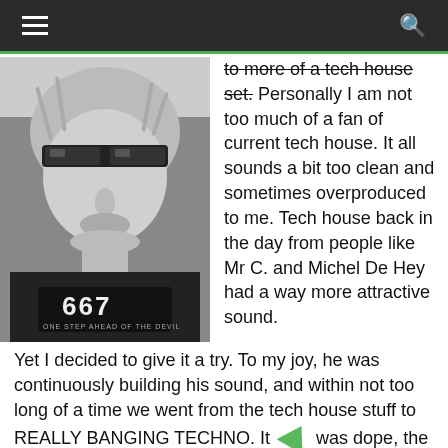≡  🔍
[Figure (photo): Black and white photo of a man wearing sunglasses and a black t-shirt with '667 One Step Ahead of the Devil' printed on it]
to more of a tech house set. Personally I am not too much of a fan of current tech house. It all sounds a bit too clean and sometimes overproduced to me. Tech house back in the day from people like Mr C. and Michel De Hey had a way more attractive sound. Yet I decided to give it a try. To my joy, he was continuously building his sound, and within not too long of a time we went from the tech house stuff to REALLY BANGING TECHNO. It was dope, the crowd went bananas and there